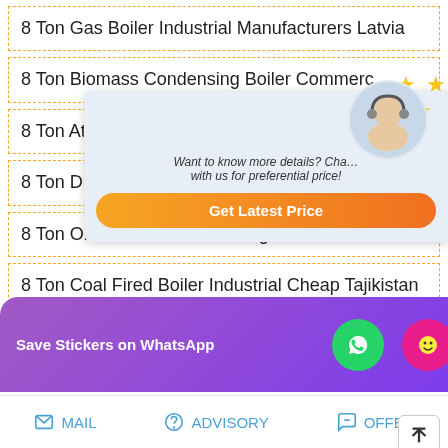8 Ton Gas Boiler Industrial Manufacturers Latvia
8 Ton Biomass Condensing Boiler Commerc...
8 Ton Atmospheric Pressure Boiler
8 Ton Diesel Steam Boiler Low Pric...
8 Ton Oil Powered Condensing Bo...
8 Ton Coal Fired Boiler Industrial Cheap Tajikistan
8 Ton Oil Boiler Agent Price Georgia
8 Ton Diesel Boiler Moldavia
8 Ton Diesel Boiler Distributor High Efficiency
...lant Energy Saving Azerbaijan
[Figure (infographic): Popup overlay with customer service agent image, stars decoration, text 'Want to know more details? Chat with us for preferential price!' and orange 'Get Latest Price' button]
[Figure (infographic): WhatsApp save stickers promotional bar with phone and emoji icons on purple/violet background]
MAIL  ADVISORY  OFFER